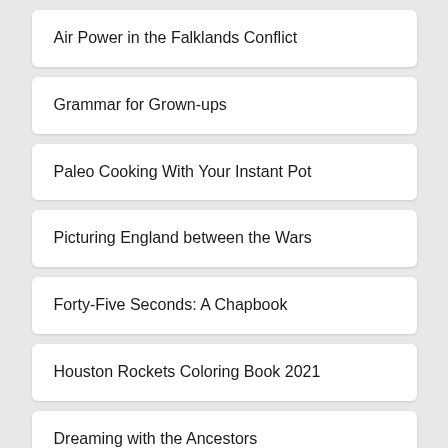Air Power in the Falklands Conflict
Grammar for Grown-ups
Paleo Cooking With Your Instant Pot
Picturing England between the Wars
Forty-Five Seconds: A Chapbook
Houston Rockets Coloring Book 2021
Dreaming with the Ancestors
Snow Blind